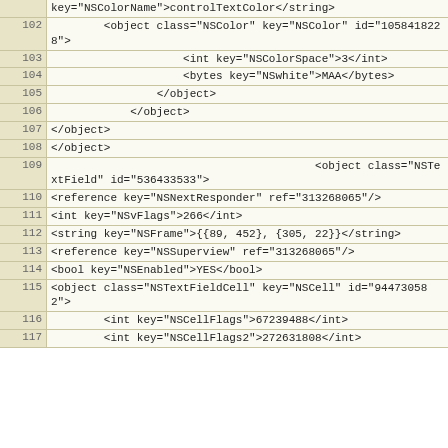| line | code |
| --- | --- |
|  | key="NSColorName">controlTextColor</string> |
| 102 |         <object class="NSColor" key="NSColor" id="1058418228"> |
| 103 |                     <int key="NSColorSpace">3</int> |
| 104 |                     <bytes key="NSwhite">MAA</bytes> |
| 105 |                 </object> |
| 106 |             </object> |
| 107 | </object> |
| 108 | </object> |
| 109 |                                         <object class="NSTextField" id="536433533"> |
| 110 | <reference key="NSNextResponder" ref="313268065"/> |
| 111 | <int key="NSvFlags">266</int> |
| 112 | <string key="NSFrame">{{89, 452}, {305, 22}}</string> |
| 113 | <reference key="NSSuperview" ref="313268065"/> |
| 114 | <bool key="NSEnabled">YES</bool> |
| 115 | <object class="NSTextFieldCell" key="NSCell" id="944730582"> |
| 116 |         <int key="NSCellFlags">67239488</int> |
| 117 |         <int key="NSCellFlags2">272631808</int> |